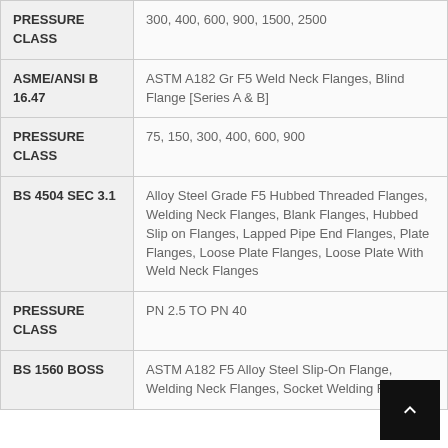| Standard/Category | Details |
| --- | --- |
| PRESSURE CLASS | 300, 400, 600, 900, 1500, 2500 |
| ASME/ANSI B 16.47 | ASTM A182 Gr F5 Weld Neck Flanges, Blind Flange [Series A & B] |
| PRESSURE CLASS | 75, 150, 300, 400, 600, 900 |
| BS 4504 SEC 3.1 | Alloy Steel Grade F5 Hubbed Threaded Flanges, Welding Neck Flanges, Blank Flanges, Hubbed Slip on Flanges, Lapped Pipe End Flanges, Plate Flanges, Loose Plate Flanges, Loose Plate With Weld Neck Flanges |
| PRESSURE CLASS | PN 2.5 TO PN 40 |
| BS 1560 BOSS | ASTM A182 F5 Alloy Steel Slip-On Flange, Welding Neck Flanges, Socket Welding Flanges |